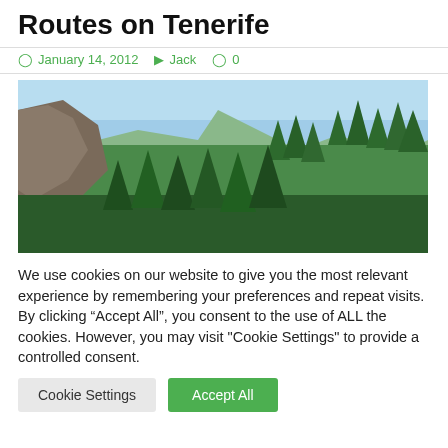Routes on Tenerife
January 14, 2012   Jack   0
[Figure (photo): Panoramic photo of a forested mountain valley in Tenerife, showing tall pine trees and rocky cliffs under a blue sky.]
We use cookies on our website to give you the most relevant experience by remembering your preferences and repeat visits. By clicking “Accept All”, you consent to the use of ALL the cookies. However, you may visit “Cookie Settings” to provide a controlled consent.
Cookie Settings   Accept All